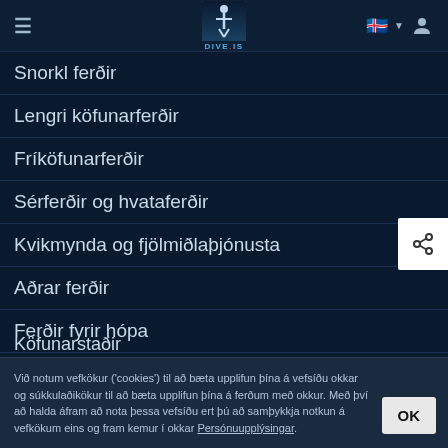DIVE.IS navigation header with hamburger menu, logo, Icelandic flag, and user icon
Snorkl ferðir
Lengri köfunarferðir
Fríköfunarferðir
Sérferðir og hvataferðir
Kvikmynda og fjölmiðlaþjónusta
Aðrar ferðir
Ferðir fyrir hópa
Köfunarstaðir
Við notum vefkökur ('cookies') til að bæta upplifun þína á vefsíðu okkar og súkkulaðikökur til að bæta upplifun þína á ferðum með okkur. Með því að halda áfram að nota þessa vefsíðu ert þú að samþykkja notkun á vefkökum eins og fram kemur í okkar Persónuupplýsingar.